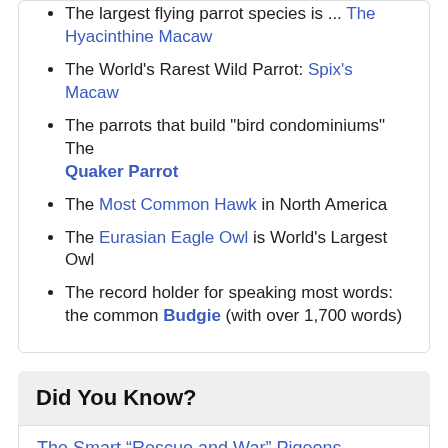The largest flying parrot species is ... The Hyacinthine Macaw
The World's Rarest Wild Parrot: Spix's Macaw
The parrots that build "bird condominiums" The Quaker Parrot
The Most Common Hawk in North America
The Eurasian Eagle Owl is World's Largest Owl
The record holder for speaking most words: the common Budgie (with over 1,700 words)
Did You Know?
The Smart “Rescue and War” Pigeons
The Heroes that Were Pigeons: The Smart “Rescue and War” Pigeons According to a study conducted…
Crows: The birds that go fishing with breadcrumbs!